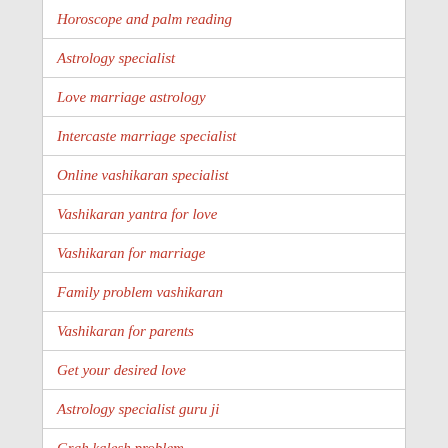Horoscope and palm reading
Astrology specialist
Love marriage astrology
Intercaste marriage specialist
Online vashikaran specialist
Vashikaran yantra for love
Vashikaran for marriage
Family problem vashikaran
Vashikaran for parents
Get your desired love
Astrology specialist guru ji
Grah kalesh problem
Break up problem solution
Child Problem solution
Best astrologer in india
Free online astrology for marriage